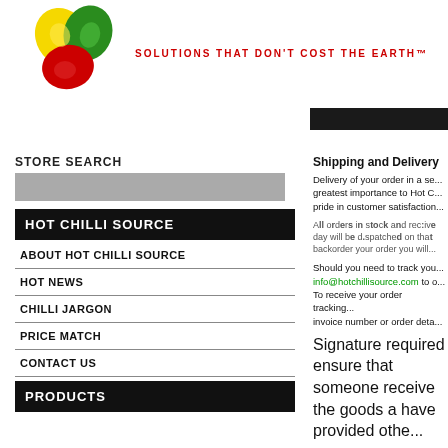[Figure (logo): Hot Chilli Source logo: colorful swirling chilli design in red, green, and yellow]
SOLUTIONS THAT DON'T COST THE EARTH™
STORE SEARCH
HOT CHILLI SOURCE
ABOUT HOT CHILLI SOURCE
HOT NEWS
CHILLI JARGON
PRICE MATCH
CONTACT US
PRODUCTS
Shipping and Delivery
Delivery of your order in a se... greatest importance to Hot C... pride in customer satisfaction...
All orders in stock and received before end of day will be dispatched on that day. If we need to backorder your order you will...
Should you need to track your order, please email info@hotchillisource.com to obtain your tracking. To receive your order tracking you will need your invoice number or order details.
Signature required ensure that someone receive the goods a have provided othe...